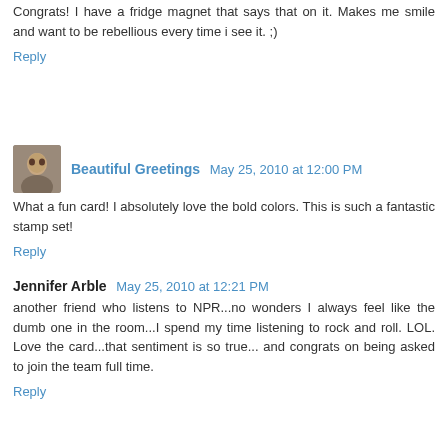Congrats! I have a fridge magnet that says that on it. Makes me smile and want to be rebellious every time i see it. ;)
Reply
Beautiful Greetings May 25, 2010 at 12:00 PM
What a fun card! I absolutely love the bold colors. This is such a fantastic stamp set!
Reply
Jennifer Arble May 25, 2010 at 12:21 PM
another friend who listens to NPR...no wonders I always feel like the dumb one in the room...I spend my time listening to rock and roll. LOL. Love the card...that sentiment is so true... and congrats on being asked to join the team full time.
Reply